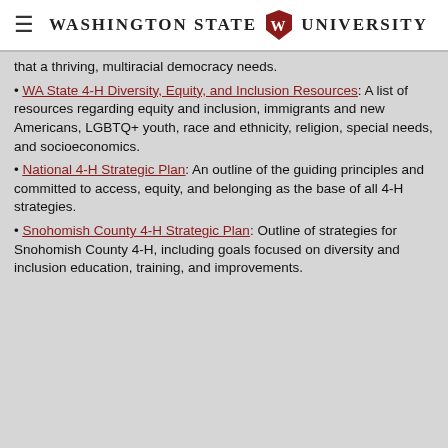Washington State University
that a thriving, multiracial democracy needs.
WA State 4-H Diversity, Equity, and Inclusion Resources: A list of resources regarding equity and inclusion, immigrants and new Americans, LGBTQ+ youth, race and ethnicity, religion, special needs, and socioeconomics.
National 4-H Strategic Plan: An outline of the guiding principles and committed to access, equity, and belonging as the base of all 4-H strategies.
Snohomish County 4-H Strategic Plan: Outline of strategies for Snohomish County 4-H, including goals focused on diversity and inclusion education, training, and improvements.